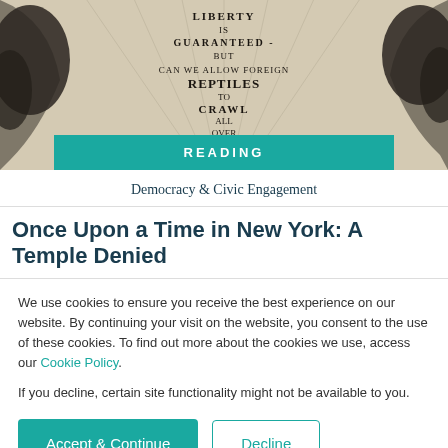[Figure (illustration): Vintage illustration showing decorative map-like imagery with text reading: LIBERTY IS GUARANTEED - BUT CAN WE ALLOW FOREIGN REPTILES TO CRAWL ALL OVER U.S.?]
READING
Democracy & Civic Engagement
Once Upon a Time in New York: A Temple Denied
We use cookies to ensure you receive the best experience on our website. By continuing your visit on the website, you consent to the use of these cookies. To find out more about the cookies we use, access our Cookie Policy.
If you decline, certain site functionality might not be available to you.